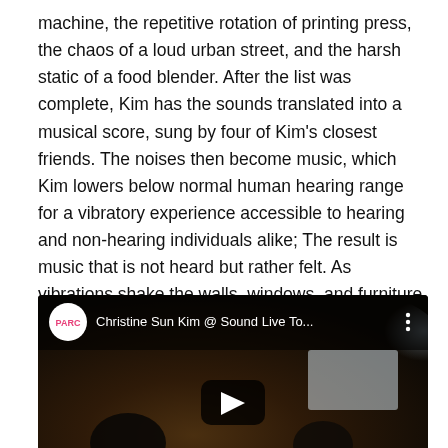machine, the repetitive rotation of printing press, the chaos of a loud urban street, and the harsh static of a food blender. After the list was complete, Kim has the sounds translated into a musical score, sung by four of Kim's closest friends. The noises then become music, which Kim lowers below normal human hearing range for a vibratory experience accessible to hearing and non-hearing individuals alike; The result is music that is not heard but rather felt. As vibrations shake the walls, windows, and furniture audience members feel the music.
[Figure (screenshot): YouTube video embed thumbnail showing 'Christine Sun Kim @ Sound Live To...' with PARC logo, dark blurred background with people silhouettes, and a play button in the center.]